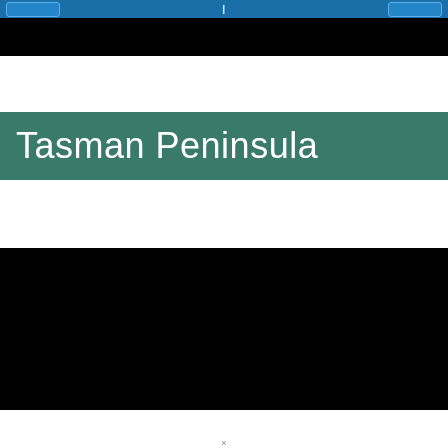Tasman Peninsula
Tasman Peninsula
[Figure (screenshot): Black screen area representing a map or media content area for Tasman Peninsula]